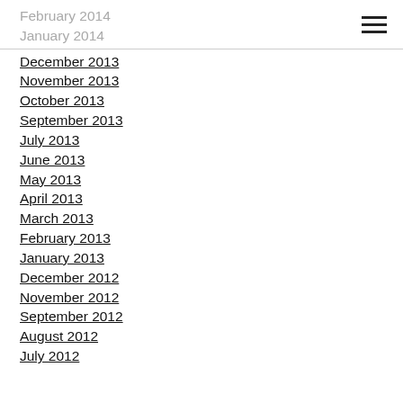February 2014
January 2014
December 2013
November 2013
October 2013
September 2013
July 2013
June 2013
May 2013
April 2013
March 2013
February 2013
January 2013
December 2012
November 2012
September 2012
August 2012
July 2012